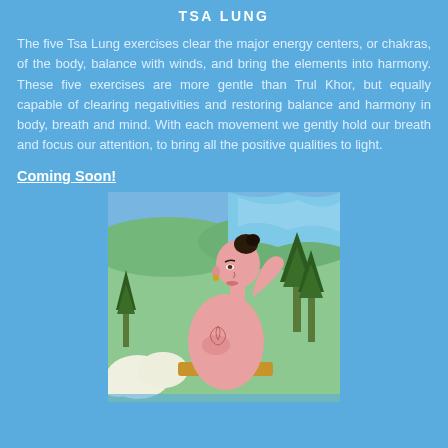TSA LUNG
The five Tsa Lung exercises clear the major energy centers, or chakras, of the body, balance with winds, and bring the elements into harmony. These five exercises are more gentle than Trul Khor, but equally capable of clearing negativities and restoring balance and harmony in body, breath and mind. With each movement we gently hold our breath and focus our attention, to bring all the positive qualities to light.
Coming Soon!
[Figure (illustration): Traditional Tibetan thangka painting depicting a figure with a bun hairstyle, bare-chested, performing a Tsa Lung exercise, set against a green landscape with trees and stylized waves in the background.]